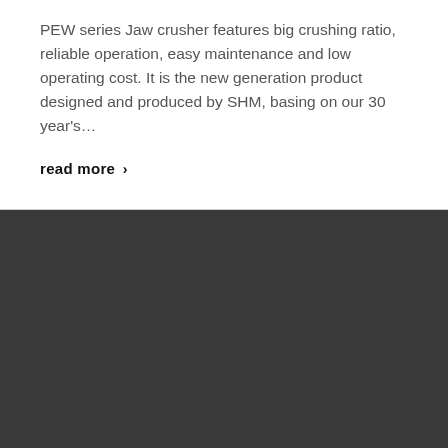PEW series Jaw crusher features big crushing ratio, reliable operation, easy maintenance and low operating cost. It is the new generation product designed and produced by SHM, basing on our 30 year's...
read more ›